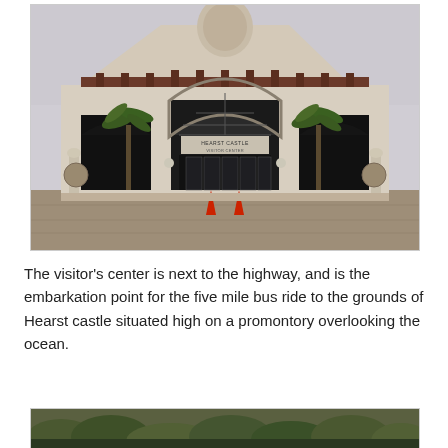[Figure (photo): Exterior photograph of the Hearst Castle Visitor Center building. A large Mission-style building with a steep peaked roof with dark red wooden beams, a large arched glass entrance, arched windows on either side, palm trees flanking the entrance, red traffic cones at the entrance, and a sign reading 'HEARST CASTLE VISITOR CENTER' above the main door. Overcast sky in background.]
The visitor's center is next to the highway, and is the embarkation point for the five mile bus ride to the grounds of Hearst castle situated high on a promontory overlooking the ocean.
[Figure (photo): Partial photograph showing a landscape with dense trees and shrubby hillside vegetation, appearing to be a view near Hearst Castle grounds.]